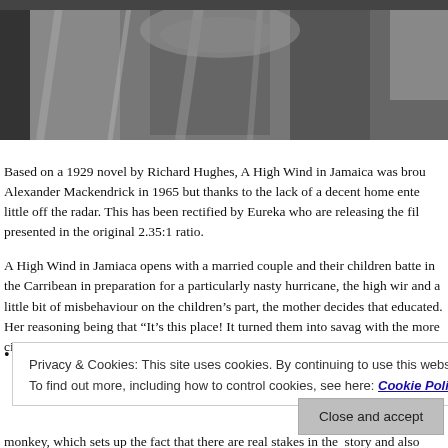[Figure (photo): Black and white photograph showing people in coats or heavy clothing, close-up detail of fabric/clothing.]
Based on a 1929 novel by Richard Hughes, A High Wind in Jamaica was brou Alexander Mackendrick in 1965 but thanks to the lack of a decent home ente little off the radar. This has been rectified by Eureka who are releasing the fil presented in the original 2.35:1 ratio.
A High Wind in Jamiaca opens with a married couple and their children batte in the Carribean in preparation for a particularly nasty hurricane, the high wi and a little bit of misbehaviour on the children's part, the mother decides tha educated. Her reasoning being that "It's this place! It turned them into savag with the more civilised folk is a theme that is oft returned to throughout the fi
Privacy & Cookies: This site uses cookies. By continuing to use this website, you agree to their use.
To find out more, including how to control cookies, see here: Cookie Policy
Close and accept
monkey, which sets up the fact that there are real stakes in the story and also